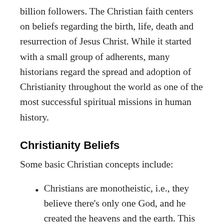billion followers. The Christian faith centers on beliefs regarding the birth, life, death and resurrection of Jesus Christ. While it started with a small group of adherents, many historians regard the spread and adoption of Christianity throughout the world as one of the most successful spiritual missions in human history.
Christianity Beliefs
Some basic Christian concepts include:
Christians are monotheistic, i.e., they believe there's only one God, and he created the heavens and the earth. This divine Godhead consists of three parts: the father (God himself), the son (Jesus